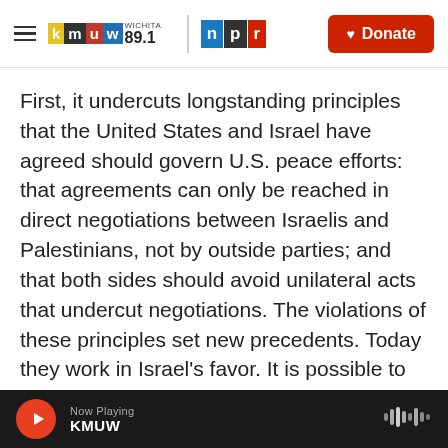KMUW WICHITA 89.1 | NPR | Donate
First, it undercuts longstanding principles that the United States and Israel have agreed should govern U.S. peace efforts: that agreements can only be reached in direct negotiations between Israelis and Palestinians, not by outside parties; and that both sides should avoid unilateral acts that undercut negotiations. The violations of these principles set new precedents. Today they work in Israel's favor. It is possible to imagine future scenarios where they would not.
Second, while some Arab states are offering tepid
Now Playing KMUW